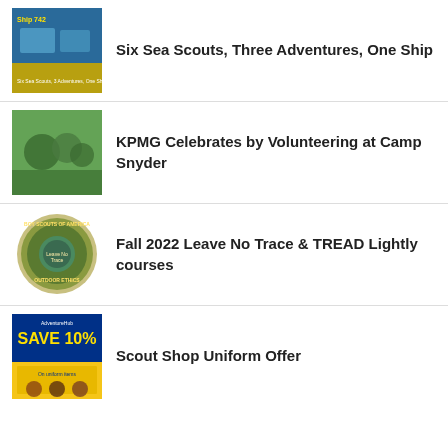Six Sea Scouts, Three Adventures, One Ship
KPMG Celebrates by Volunteering at Camp Snyder
Fall 2022 Leave No Trace & TREAD Lightly courses
Scout Shop Uniform Offer